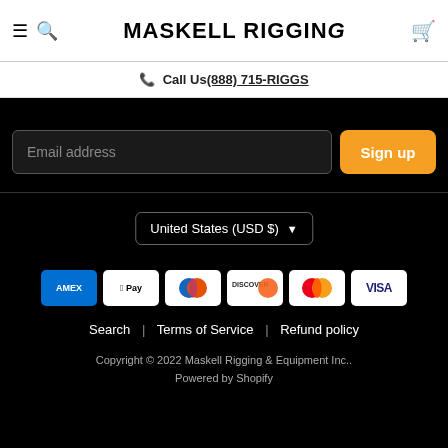MASKELL RIGGING
Call Us (888) 715-RIGGS
Email address
Sign up
United States (USD $)
[Figure (other): Payment method icons: American Express, Apple Pay, Diners Club, Discover, Mastercard, Visa]
Search | Terms of Service | Refund policy
Copyright © 2022 Maskell Rigging & Equipment Inc.. Powered by Shopify